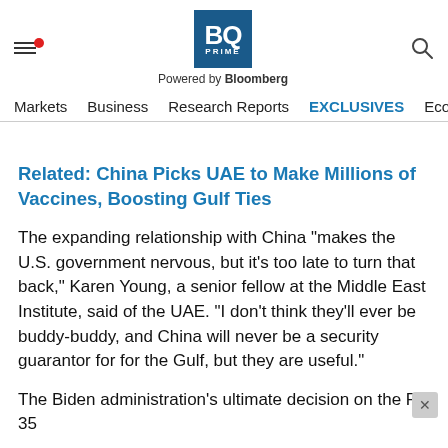BQ PRIME — Powered by Bloomberg — Navigation: Markets | Business | Research Reports | EXCLUSIVES | Economy
Related: China Picks UAE to Make Millions of Vaccines, Boosting Gulf Ties
The expanding relationship with China “makes the U.S. government nervous, but it’s too late to turn that back,” Karen Young, a senior fellow at the Middle East Institute, said of the UAE. “I don’t think they’ll ever be buddy-buddy, and China will never be a security guarantor for for the Gulf, but they are useful.”
The Biden administration’s ultimate decision on the F-35